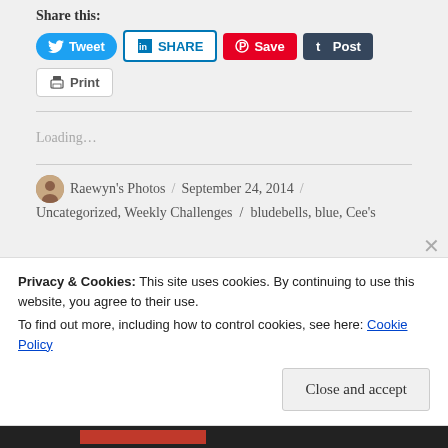Share this:
[Figure (infographic): Social share buttons: Tweet (Twitter, blue pill shape), SHARE (LinkedIn, blue border), Save (Pinterest, red), Post (Tumblr, dark), Print (grey border)]
Loading...
Raewyn's Photos / September 24, 2014 /
Uncategorized, Weekly Challenges / bludebells, blue, Cee's
Privacy & Cookies: This site uses cookies. By continuing to use this website, you agree to their use.
To find out more, including how to control cookies, see here: Cookie Policy
Close and accept